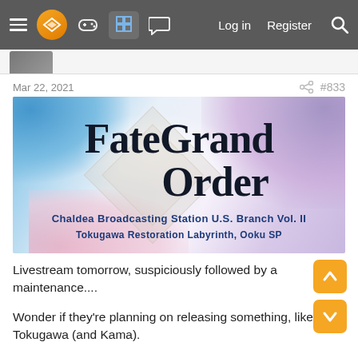≡ [logo] [controller] [grid] [chat]   Log in   Register  🔍
[Figure (screenshot): Partial profile picture thumbnail at top of post]
Mar 22, 2021    ⋮   #833
[Figure (photo): Fate Grand Order - Chaldea Broadcasting Station U.S. Branch Vol. II Tokugawa Restoration Labyrinth, Ooku SP promotional image with blue, white and purple cloud/mist background and game logo]
Livestream tomorrow, suspiciously followed by a maintenance....
Wonder if they're planning on releasing something, like, say, Tokugawa (and Kama).